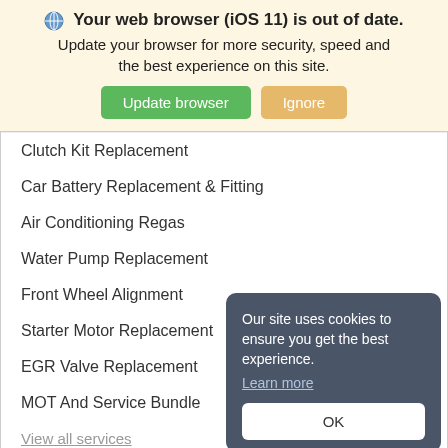🌐 Your web browser (iOS 11) is out of date. Update your browser for more security, speed and the best experience on this site. [Update browser] [Ignore]
Clutch Kit Replacement
Car Battery Replacement & Fitting
Air Conditioning Regas
Water Pump Replacement
Front Wheel Alignment
Starter Motor Replacement
EGR Valve Replacement
MOT And Service Bundle
View all services
Popular locations
Our site uses cookies to ensure you get the best experience. Learn more OK